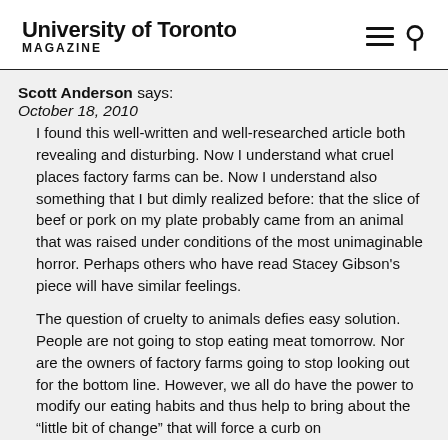University of Toronto MAGAZINE
Scott Anderson says:
October 18, 2010
I found this well-written and well-researched article both revealing and disturbing. Now I understand what cruel places factory farms can be. Now I understand also something that I but dimly realized before: that the slice of beef or pork on my plate probably came from an animal that was raised under conditions of the most unimaginable horror. Perhaps others who have read Stacey Gibson's piece will have similar feelings.
The question of cruelty to animals defies easy solution. People are not going to stop eating meat tomorrow. Nor are the owners of factory farms going to stop looking out for the bottom line. However, we all do have the power to modify our eating habits and thus help to bring about the “little bit of change” that will force a curb on